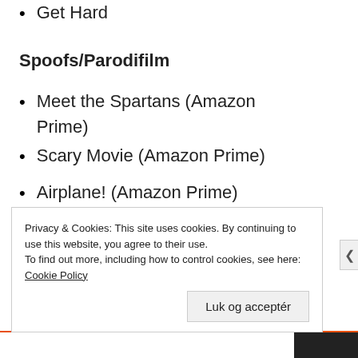Get Hard
Spoofs/Parodifilm
Meet the Spartans (Amazon Prime)
Scary Movie (Amazon Prime)
Airplane! (Amazon Prime)
Sharknado (Netflix)
Hot Shots
Privacy & Cookies: This site uses cookies. By continuing to use this website, you agree to their use.
To find out more, including how to control cookies, see here: Cookie Policy
Luk og acceptér